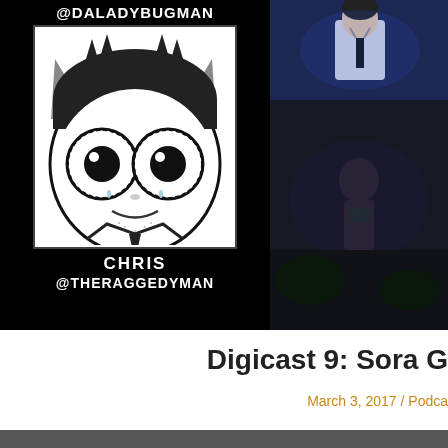[Figure (photo): Composite image with black background. Left half shows manga-style cartoon face (bug-eyed character) with text '@DALADYBUGMAN' at top, 'CHRIS' and '@THERAGGEDYMAN' below the face in white bold uppercase letters. Right half shows two anime/video screenshots stacked vertically — top shows a character in school uniform, bottom shows a dark scene.]
Digicast 9: Sora G
March 3, 2017 / Podca